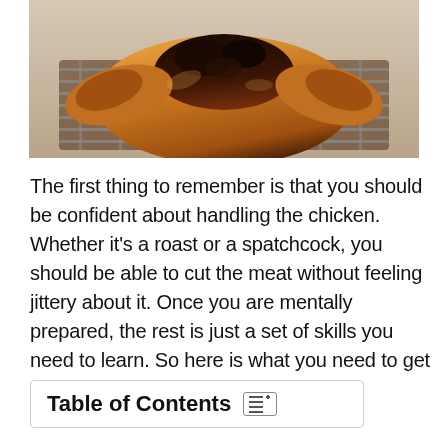[Figure (photo): Roasted spatchcock or whole chicken on a wire rack, golden brown with dark caramelized skin, viewed from above]
The first thing to remember is that you should be confident about handling the chicken. Whether it's a roast or a spatchcock, you should be able to cut the meat without feeling jittery about it. Once you are mentally prepared, the rest is just a set of skills you need to learn. So here is what you need to get started and accomplish the feat.
Table of Contents